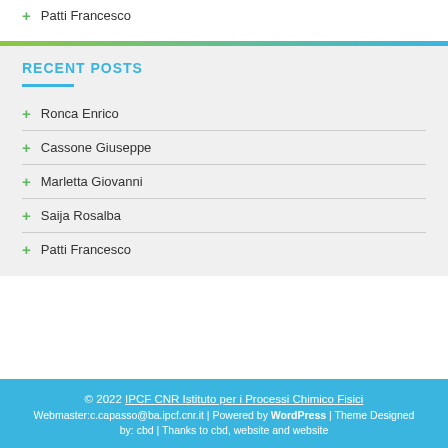+ Patti Francesco
RECENT POSTS
+ Ronca Enrico
+ Cassone Giuseppe
+ Marletta Giovanni
+ Saija Rosalba
+ Patti Francesco
© 2022 IPCF CNR Istituto per i Processi Chimico Fisici
Webmaster:c.capasso@ba.ipcf.cnr.it | Powered by WordPress | Theme Designed by: cbd | Thanks to cbd, website and website